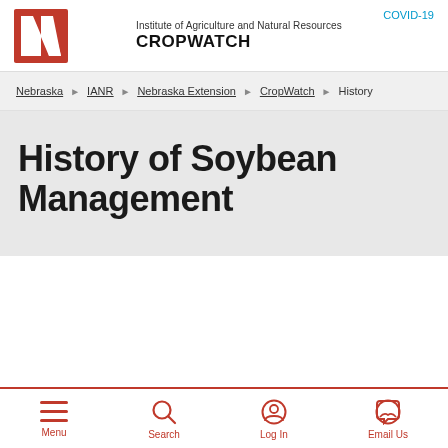COVID-19
[Figure (logo): University of Nebraska red N logo with Institute of Agriculture and Natural Resources CROPWATCH text]
Nebraska > IANR > Nebraska Extension > CropWatch > History
History of Soybean Management
Menu | Search | Log In | Email Us